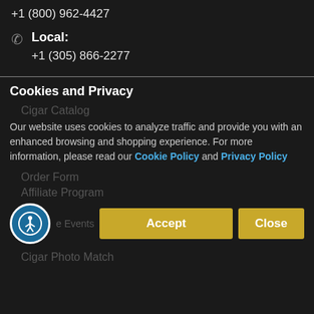+1 (800) 962-4427
Local: +1 (305) 866-2277
WhatsApp / Int'l.: +1 (305) 849-9377
Email: customerservice@mikescigars.com
Learn More
Cigar Information
Cuban Cigars
Cookies and Privacy
Cigar Catalog
Our website uses cookies to analyze traffic and provide you with an enhanced browsing and shopping experience. For more information, please read our Cookie Policy and Privacy Policy
Order Form
Affiliate Program
Cigar Events
Accept
Close
Cigar Photo Match